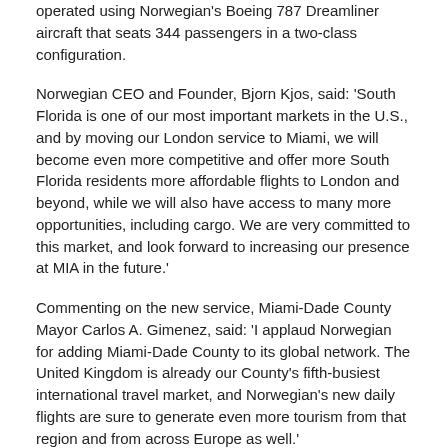operated using Norwegian's Boeing 787 Dreamliner aircraft that seats 344 passengers in a two-class configuration.
Norwegian CEO and Founder, Bjorn Kjos, said: 'South Florida is one of our most important markets in the U.S., and by moving our London service to Miami, we will become even more competitive and offer more South Florida residents more affordable flights to London and beyond, while we will also have access to many more opportunities, including cargo. We are very committed to this market, and look forward to increasing our presence at MIA in the future.'
Commenting on the new service, Miami-Dade County Mayor Carlos A. Gimenez, said: 'I applaud Norwegian for adding Miami-Dade County to its global network. The United Kingdom is already our County's fifth-busiest international travel market, and Norwegian's new daily flights are sure to generate even more tourism from that region and from across Europe as well.'
'We are honored by Norwegian's decision to launch first-ever Miami service, which provides our passengers with yet another nonstop travel option to Europe. We proudly welcome their award-winning service to MIA, where nearly one million passengers already travel to and from the United Kingdom annually,' added Miami-Dade Aviation Department